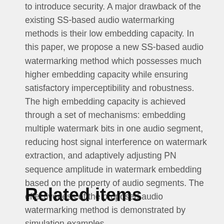to introduce security. A major drawback of the existing SS-based audio watermarking methods is their low embedding capacity. In this paper, we propose a new SS-based audio watermarking method which possesses much higher embedding capacity while ensuring satisfactory imperceptibility and robustness. The high embedding capacity is achieved through a set of mechanisms: embedding multiple watermark bits in one audio segment, reducing host signal interference on watermark extraction, and adaptively adjusting PN sequence amplitude in watermark embedding based on the property of audio segments. The effectiveness of the proposed audio watermarking method is demonstrated by simulation examples.
Related items